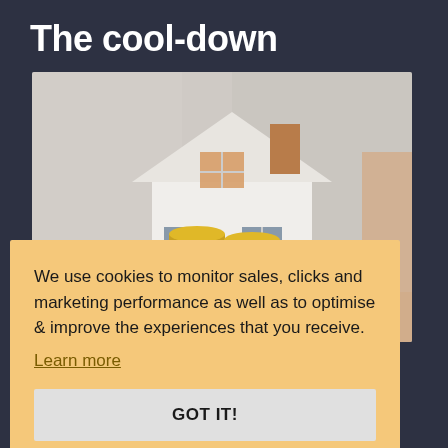The cool-down
[Figure (photo): A miniature white house model with a brick chimney, sitting on top of stacked gold coins, held by hands in the background.]
We use cookies to monitor sales, clicks and marketing performance as well as to optimise & improve the experiences that you receive.
Learn more
GOT IT!